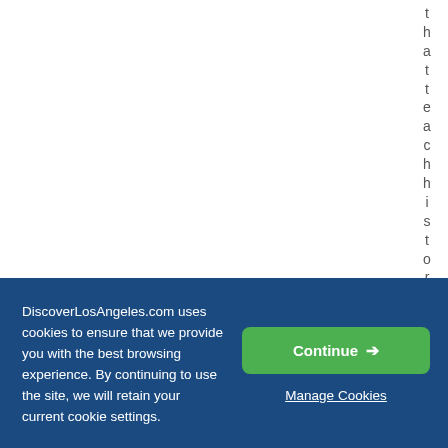t h a t t e a c h h i s t o r
DiscoverLosAngeles.com uses cookies to ensure that we provide you with the best browsing experience. By continuing to use the site, we will retain your current cookie settings.
Continue →
Manage Cookies